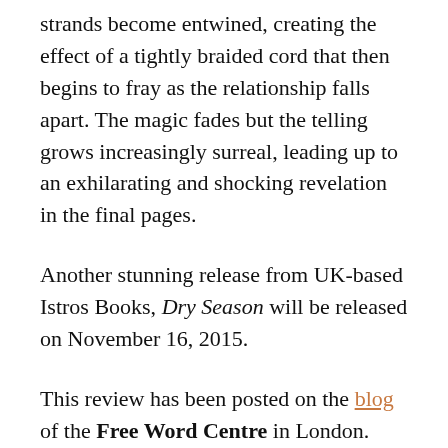strands become entwined, creating the effect of a tightly braided cord that then begins to fray as the relationship falls apart. The magic fades but the telling grows increasingly surreal, leading up to an exhilarating and shocking revelation in the final pages.
Another stunning release from UK-based Istros Books, Dry Season will be released on November 16, 2015.
This review has been posted on the blog of the Free Word Centre in London.
In partnership with Istros Books, the Free Word Centre is hosting an evening with Gabriela Babnik